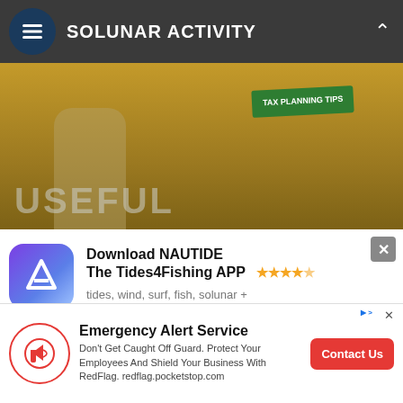SOLUNAR ACTIVITY
[Figure (screenshot): Background banner image showing a street sign reading TAX PLANNING TIPS and the word USEFUL in large faded letters, with a warm brown/amber background]
[Figure (screenshot): App download modal for NAUTIDE - The Tides4Fishing APP with purple gradient icon, 4.5 star rating, subtitle 'tides, wind, surf, fish, solunar +', five feature icon buttons, and 'Now available' text. Below shows Android and iOS store buttons.]
Download NAUTIDE The Tides4Fishing APP
tides, wind, surf, fish, solunar +
Now available
[Figure (screenshot): Emergency Alert Service advertisement banner at the bottom with red megaphone icon, text about protecting employees and business with RedFlag, and a red Contact Us button]